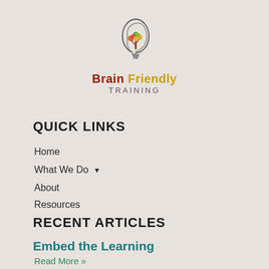[Figure (logo): Brain Friendly Training logo — stylized human head profile with a lightbulb and colorful tree inside, above the text 'Brain Friendly TRAINING']
QUICK LINKS
Home
What We Do ▾
About
Resources
Contact Us
RECENT ARTICLES
Embed the Learning
Read More »